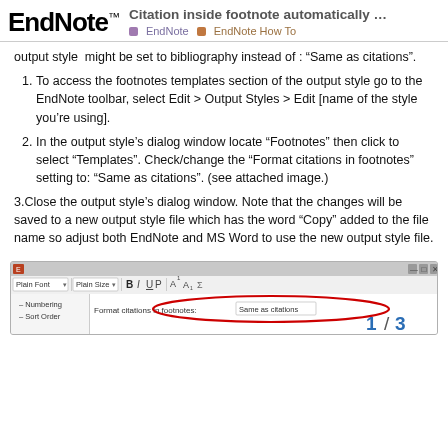Citation inside footnote automatically ... | EndNote | EndNote How To
output style  might be set to bibliography instead of : “Same as citations”.
To access the footnotes templates section of the output style go to the EndNote toolbar, select Edit > Output Styles > Edit [name of the style you’re using].
In the output style’s dialog window locate “Footnotes” then click to select “Templates”. Check/change the “Format citations in footnotes” setting to: “Same as citations”. (see attached image.)
3.Close the output style’s dialog window. Note that the changes will be saved to a new output style file which has the word “Copy” added to the file name so adjust both EndNote and MS Word to use the new output style file.
[Figure (screenshot): Screenshot of EndNote output style dialog showing toolbar with B I U P A buttons and a 'Format citations in footnotes: Same as citations' field highlighted with a red circle. Sidebar shows Numbering and Sort Order options. Page indicator shows 1/3 in blue.]